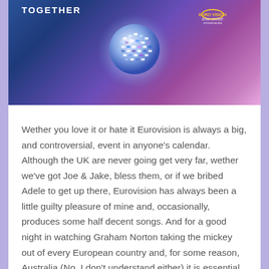[Figure (photo): Eurovision Song Contest promotional image with a glowing disco ball against a blue and purple background, with 'TOGETHER' text on the left and Eurovision Song Contest logo on the right]
Wether you love it or hate it Eurovision is always a big, and controversial, event in anyone's calendar. Although the UK are never going get very far, wether we've got Joe & Jake, bless them, or if we bribed Adele to get up there, Eurovision has always been a little guilty pleasure of mine and, occasionally, produces some half decent songs. And for a good night in watching Graham Norton taking the mickey out of every European country and, for some reason, Australia (No, I don't understand either) it is essential to have some yummy treats to get you through and,in my family, this has always been pizza followed by an awesome desert (I made Deliciously Ella's Chocolate Caramel Slices which I plan to review soon, recipe from her new book). But since I gave up gluten and refined sugar, and cut down on dairy (I'm really